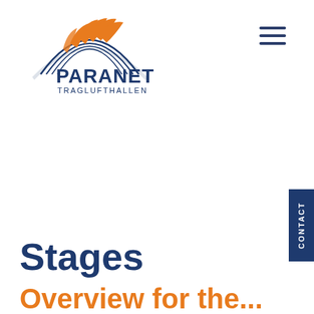[Figure (logo): Paranet Traglufthallen logo with arching wheat/feather graphic in orange and blue, company name in dark navy blue]
[Figure (other): Hamburger menu icon with three horizontal dark blue lines]
[Figure (other): Contact tab on right side, vertical text reading CONTACT on dark blue background]
Stages
Overview for the...